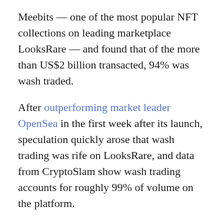Meebits — one of the most popular NFT collections on leading marketplace LooksRare — and found that of the more than US$2 billion transacted, 94% was wash traded.
After outperforming market leader OpenSea in the first week after its launch, speculation quickly arose that wash trading was rife on LooksRare, and data from CryptoSlam show wash trading accounts for roughly 99% of volume on the platform.
One expert told Forkast he believes floor prices will not be too badly affected, but the practice may cost the market in other ways.
“[It’s] potentially dangerous when you have